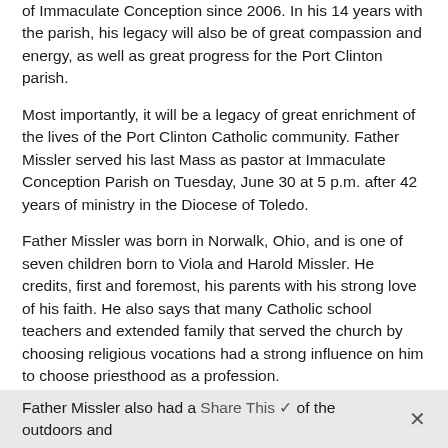of Immaculate Conception since 2006. In his 14 years with the parish, his legacy will also be of great compassion and energy, as well as great progress for the Port Clinton parish.
Most importantly, it will be a legacy of great enrichment of the lives of the Port Clinton Catholic community. Father Missler served his last Mass as pastor at Immaculate Conception Parish on Tuesday, June 30 at 5 p.m. after 42 years of ministry in the Diocese of Toledo.
Father Missler was born in Norwalk, Ohio, and is one of seven children born to Viola and Harold Missler. He credits, first and foremost, his parents with his strong love of his faith. He also says that many Catholic school teachers and extended family that served the church by choosing religious vocations had a strong influence on him to choose priesthood as a profession.
Father Missler also had a Share This of the outdoors and